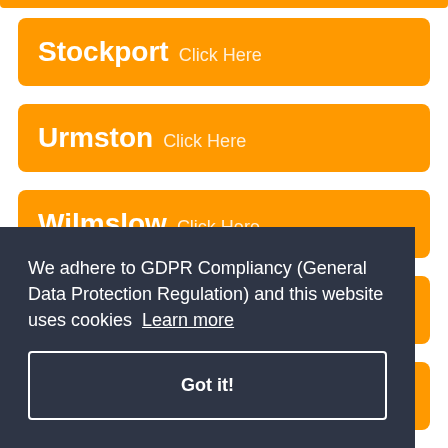Stockport Click Here
Urmston Click Here
Wilmslow Click Here
We adhere to GDPR Compliancy (General Data Protection Regulation) and this website uses cookies Learn more
Got it!